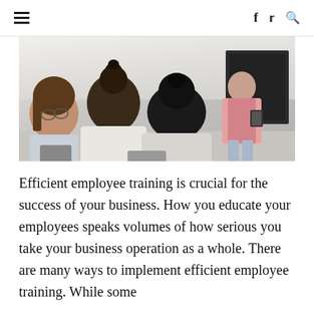≡  f  𝕿  🔍
[Figure (photo): A workplace training scene: three people seated with backs to camera, looking towards a woman in a pink blazer and light blue pants standing in front of a dark screen, holding a tablet.]
Efficient employee training is crucial for the success of your business. How you educate your employees speaks volumes of how serious you take your business operation as a whole. There are many ways to implement efficient employee training. While some